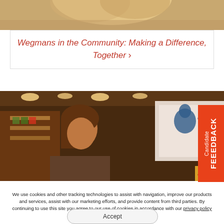[Figure (photo): Top portion of a person's head with blonde hair against a light background]
Wegmans in the Community: Making a Difference, Together ›
[Figure (photo): Wegmans grocery store checkout scene with two women smiling, a 'Check Out Hunger at Home' sign visible, and a Candidate FEEDBACK tab on the right side]
We use cookies and other tracking technologies to assist with navigation, improve our products and services, assist with our marketing efforts, and provide content from third parties. By continuing to use this site you agree to our use of cookies in accordance with our privacy policy. Manage third-party cookie preferences here.
Accept